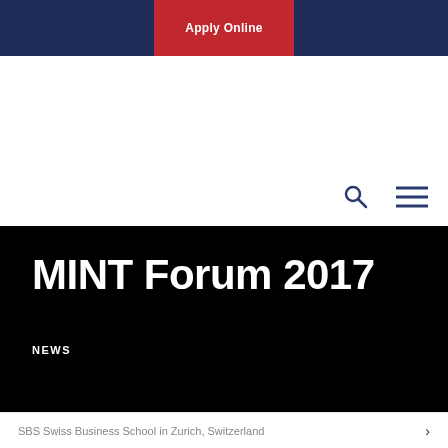Apply Online
[Figure (screenshot): Navigation bar with search icon and hamburger menu icon on white background]
MINT Forum 2017
NEWS
SBS Swiss Business School in Zurich, Switzerland >